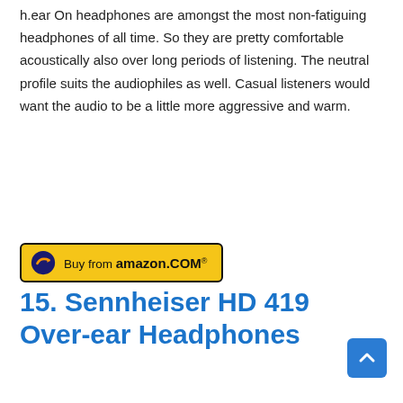h.ear On headphones are amongst the most non-fatiguing headphones of all time. So they are pretty comfortable acoustically also over long periods of listening. The neutral profile suits the audiophiles as well. Casual listeners would want the audio to be a little more aggressive and warm.
[Figure (other): Buy from amazon.com button with yellow background and Amazon logo arrow]
15. Sennheiser HD 419 Over-ear Headphones
Once in a while even the low-budget headphones get it right. Sennheiser HD419 headphones are one of their affordable cans that replicate the cozy comfort of their high-end headphones. These budget